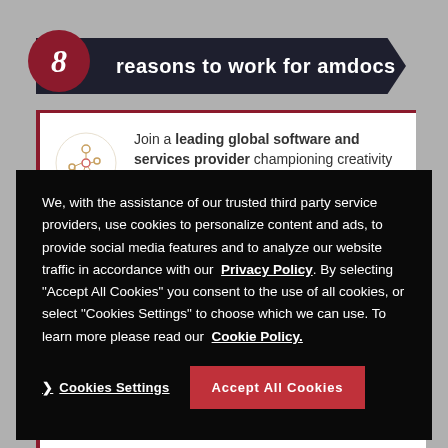8 reasons to work for amdocs
Join a leading global software and services provider championing creativity and technology to build a better connected
We, with the assistance of our trusted third party service providers, use cookies to personalize content and ads, to provide social media features and to analyze our website traffic in accordance with our Privacy Policy. By selecting “Accept All Cookies” you consent to the use of all cookies, or select “Cookies Settings” to choose which we can use. To learn more please read our Cookie Policy.
Cookies Settings
Accept All Cookies
Be part of a company that engages in